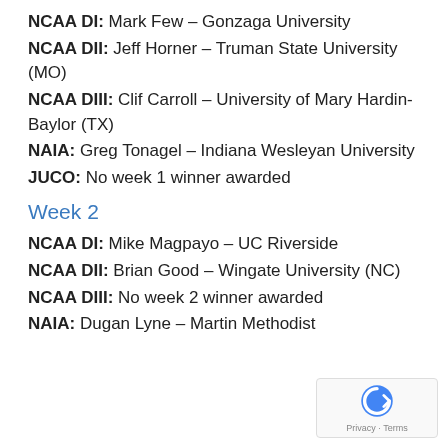NCAA DI: Mark Few – Gonzaga University
NCAA DII: Jeff Horner – Truman State University (MO)
NCAA DIII: Clif Carroll – University of Mary Hardin-Baylor (TX)
NAIA: Greg Tonagel – Indiana Wesleyan University
JUCO: No week 1 winner awarded
Week 2
NCAA DI: Mike Magpayo – UC Riverside
NCAA DII: Brian Good – Wingate University (NC)
NCAA DIII: No week 2 winner awarded
NAIA: Dugan Lyne – Martin Methodist